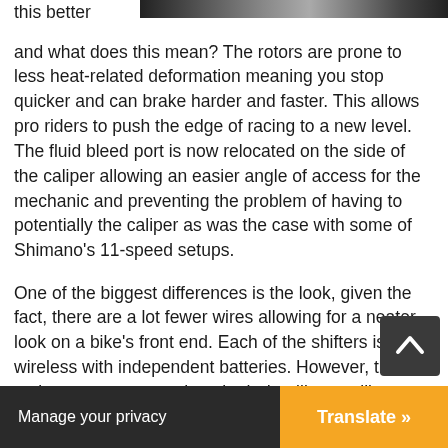[Figure (photo): Partial photo strip visible at top right of page, appears to be cyclists or racing scene in dark tones]
this better
and what does this mean? The rotors are prone to less heat-related deformation meaning you stop quicker and can brake harder and faster. This allows pro riders to push the edge of racing to a new level. The fluid bleed port is now relocated on the side of the caliper allowing an easier angle of access for the mechanic and preventing the problem of having to potentially the caliper as was the case with some of Shimano's 11-speed setups.
One of the biggest differences is the look, given the fact, there are a lot fewer wires allowing for a neater look on a bike's front end. Each of the shifters is now wireless with independent batteries. However, the main components such as both derailleurs still conta[in wires that have] been d[esigned] for ea[ch to reduce]
Manage your privacy
Translate »